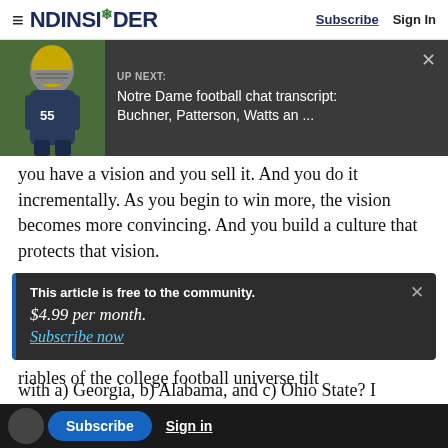NDINSiDER — Subscribe | Sign In
[Figure (screenshot): Up Next banner with Notre Dame football player in helmet and uniform, dark background. Text reads UP NEXT: Notre Dame football chat transcript: Buchner, Patterson, Watts an ...]
you have a vision and you sell it. And you do it incrementally. As you begin to win more, the vision becomes more convincing. And you build a culture that protects that vision.
This article is free to the community.
$4.99 per month.
Subscribe now
riables of the college football universe tilt
with a) Georgia, b) Alabama, and c) Ohio State? I